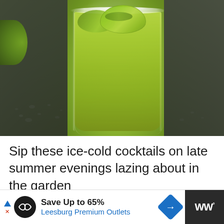[Figure (photo): Close-up photo of a green cocktail (likely a cucumber margarita) in a rocks glass with a salted rim and lime/cucumber garnish, on a dark gray surface scattered with coarse salt crystals]
Sip these ice-cold cocktails on late summer evenings lazing about in the garden
[Figure (screenshot): Advertisement banner: Save Up to 65% Leesburg Premium Outlets, with a circular logo icon, navigation arrow, and weather widget showing temperature]